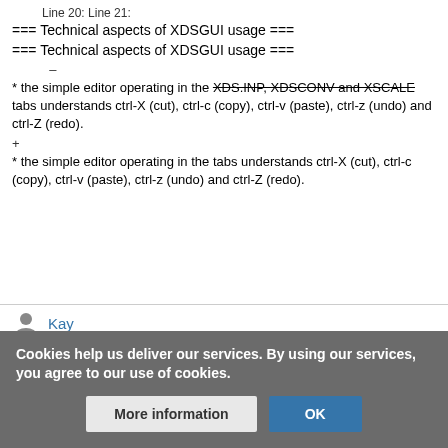Line 20: Line 21:
=== Technical aspects of XDSGUI usage ===
=== Technical aspects of XDSGUI usage ===
–
* the simple editor operating in the XDS.INP, XDSCONV and XSCALE tabs understands ctrl-X (cut), ctrl-c (copy), ctrl-v (paste), ctrl-z (undo) and ctrl-Z (redo).
+
* the simple editor operating in the tabs understands ctrl-X (cut), ctrl-c (copy), ctrl-v (paste), ctrl-z (undo) and ctrl-Z (redo).
Kay
BUREAUCRATS
Edits
Cookies help us deliver our services. By using our services, you agree to our use of cookies.